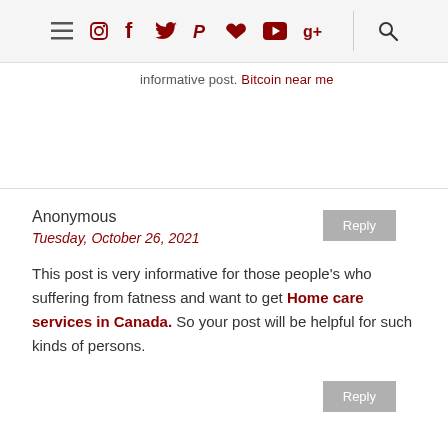Navigation bar with menu, Instagram, Facebook, Twitter, Pinterest, heart, YouTube, Google+, and search icons
informative post. Bitcoin near me
Reply
Anonymous
Tuesday, October 26, 2021
This post is very informative for those people's who suffering from fatness and want to get Home care services in Canada. So your post will be helpful for such kinds of persons.
Reply